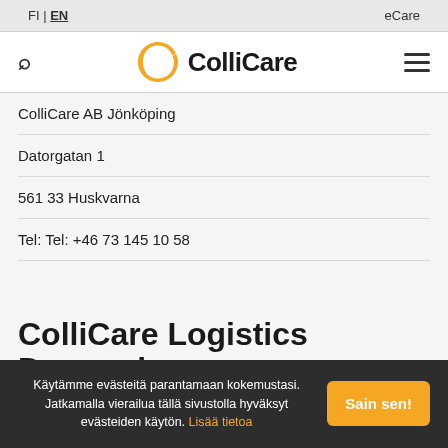FI | EN  eCare
[Figure (logo): ColliCare logo with orange C icon and bold ColliCare wordmark]
ColliCare AB Jönköping
Datorgatan 1
561 33 Huskvarna
Tel: Tel: +46 73 145 10 58
ColliCare Logistics Denmark
Käytämme evästeitä parantamaan kokemustasi. Jatkamalla vierailua tällä sivustolla hyväksyt evästeiden käytön. Lisää tietoa